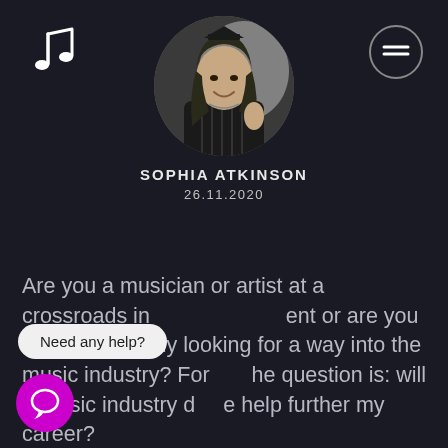[Figure (logo): Music note icon in white, top left]
[Figure (photo): Circular black and white profile photo of Sophia Atkinson, a young woman with long hair smiling]
[Figure (illustration): Hamburger menu icon (three horizontal lines) in a circle, top right]
SOPHIA ATKINSON
26.11.2020
Are you a musician or artist at a crossroads in [your career]ent or are you someone simply looking for a way into the music industry? For [t]he question is: will a music industry d[egree] help further my career?
Need any help?
[Figure (illustration): Purple chat bubble icon at bottom left]